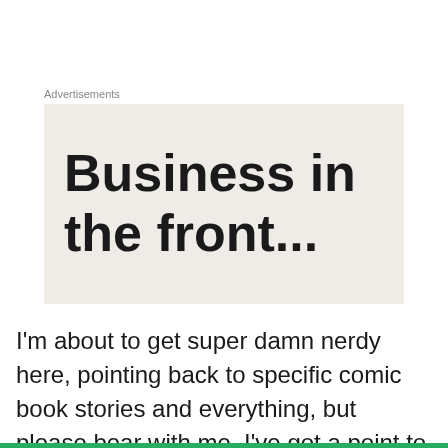Advertisements
[Figure (other): Advertisement box with large bold text reading 'Business in the front...' on a light beige/gray background]
I'm about to get super damn nerdy here, pointing back to specific comic book stories and everything, but please bear with me. I've got a point to make. Superman is the
Privacy & Cookies: This site uses cookies. By continuing to use this website, you agree to their use.
To find out more, including how to control cookies, see here: Cookie Policy
Close and accept